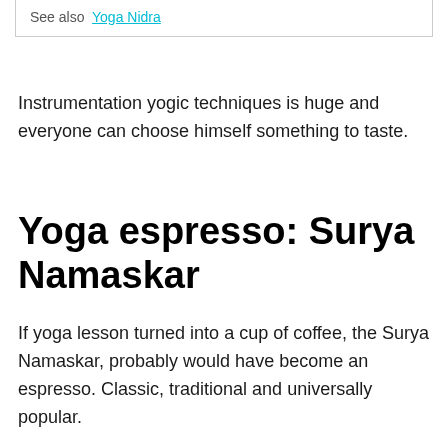See also  Yoga Nidra
Instrumentation yogic techniques is huge and everyone can choose himself something to taste.
Yoga espresso: Surya Namaskar
If yoga lesson turned into a cup of coffee, the Surya Namaskar, probably would have become an espresso. Classic, traditional and universally popular.